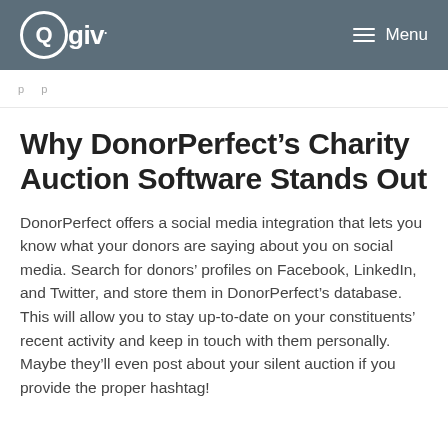Qgiv. Menu
p p
Why DonorPerfect’s Charity Auction Software Stands Out
DonorPerfect offers a social media integration that lets you know what your donors are saying about you on social media. Search for donors’ profiles on Facebook, LinkedIn, and Twitter, and store them in DonorPerfect’s database. This will allow you to stay up-to-date on your constituents’ recent activity and keep in touch with them personally. Maybe they’ll even post about your silent auction if you provide the proper hashtag!